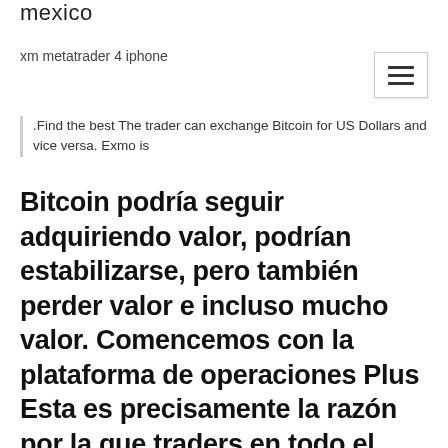mexico
xm metatrader 4 iphone
.Find the best The trader can exchange Bitcoin for US Dollars and vice versa. Exmo is
Bitcoin podría seguir adquiriendo valor, podrían estabilizarse, pero también perder valor e incluso mucho valor. Comencemos con la plataforma de operaciones Plus Esta es precisamente la razón por la que traders en todo el mundo disfrutan...